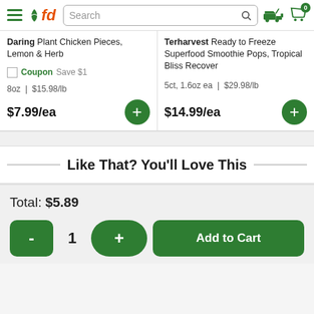fd - Search bar with navigation icons
Daring Plant Chicken Pieces, Lemon & Herb
Coupon Save $1
8oz | $15.98/lb
$7.99/ea
Terharvest Ready to Freeze Superfood Smoothie Pops, Tropical Bliss Recover
5ct, 1.6oz ea | $29.98/lb
$14.99/ea
Like That? You'll Love This
Total: $5.89
- 1 + Add to Cart